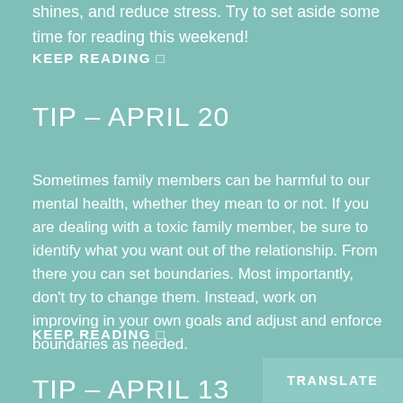shines, and reduce stress. Try to set aside some time for reading this weekend!
KEEP READING ▷
TIP – APRIL 20
Sometimes family members can be harmful to our mental health, whether they mean to or not. If you are dealing with a toxic family member, be sure to identify what you want out of the relationship. From there you can set boundaries. Most importantly, don't try to change them. Instead, work on improving in your own goals and adjust and enforce boundaries as needed.
KEEP READING ▷
TRANSLATE
TIP – APRIL 13